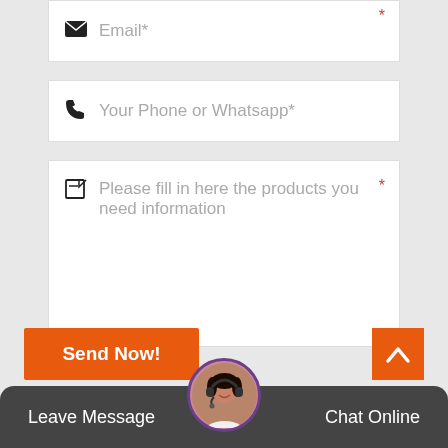Email* (form field)
Your Phone or Whatsapp* (form field)
Please fill in here the products you need information (form field)
Send Now! (button)
Leave Message
Chat Online